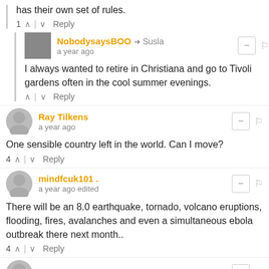has their own set of rules.
1 ∧ | ∨ Reply
NobodysaysBOO → Susla
a year ago
I always wanted to retire in Christiana and go to Tivoli gardens often in the cool summer evenings.
∧ | ∨ Reply
Ray Tilkens
a year ago
One sensible country left in the world. Can I move?
4 ∧ | ∨ Reply
mindfcuk101 .
a year ago edited
There will be an 8.0 earthquake, tornado, volcano eruptions, flooding, fires, avalanches and even a simultaneous ebola outbreak there next month..
4 ∧ | ∨ Reply
Domi El